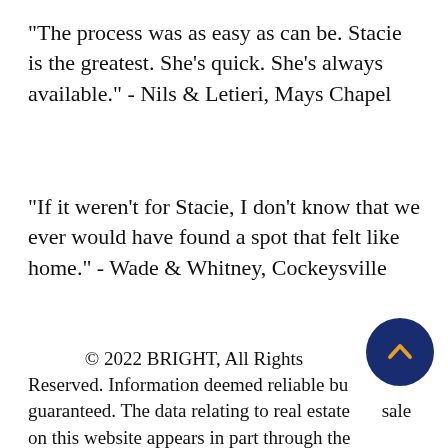"The process was as easy as can be. Stacie is the greatest. She's quick. She's always available." - Nils & Letieri, Mays Chapel
"If it weren't for Stacie, I don't know that we ever would have found a spot that felt like home." - Wade & Whitney, Cockeysville
© 2022 BRIGHT, All Rights Reserved. Information deemed reliable but not guaranteed. The data relating to real estate for sale on this website appears in part through the BRIGHT Internet Data Exchange program, a voluntary cooperative exchange of property listing data between licensed real estate brokers from which Companies & C...